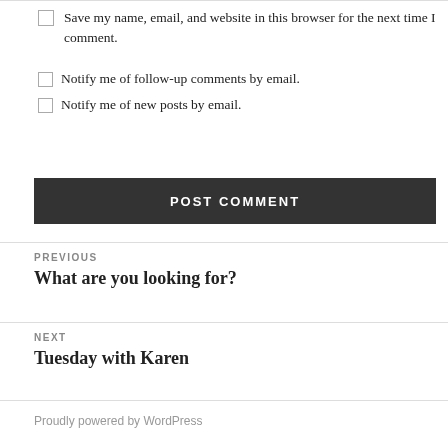Save my name, email, and website in this browser for the next time I comment.
Notify me of follow-up comments by email.
Notify me of new posts by email.
POST COMMENT
PREVIOUS
What are you looking for?
NEXT
Tuesday with Karen
Proudly powered by WordPress